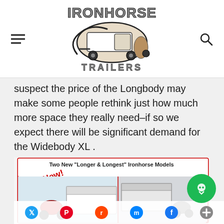Ironhorse Trailers logo with hamburger menu and search icon
suspect the price of the Longbody may make some people rethink just how much more space they really need–if so we expect there will be significant demand for the Widebody XL .
[Figure (photo): Advertisement image showing Two New 'Longer & Longest' Ironhorse Models – The 18' WideBody XL™, with images of trailers being towed by three-wheeled vehicles]